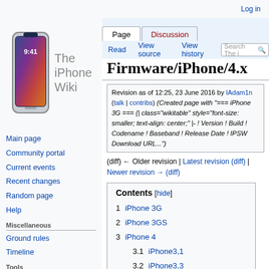Log in
[Figure (logo): The iPhone Wiki logo with iPhone X image and text 'The iPhone Wiki']
Page | Discussion | Read | View source | View history | Search The i
Firmware/iPhone/4.x
Revision as of 12:25, 23 June 2016 by IAdam1n (talk | contribs) (Created page with "=== iPhone 3G === {| class="wikitable" style="font-size: smaller; text-align: center;" |- ! Version ! Build ! Codename ! Baseband ! Release Date ! IPSW Download URL...")
(diff) ← Older revision | Latest revision (diff) | Newer revision → (diff)
| Contents [hide] |
| --- |
| 1 iPhone 3G |
| 2 iPhone 3GS |
| 3 iPhone 4 |
| 3.1 iPhone3,1 |
| 3.2 iPhone3,3 |
iPhone 3G
Main page
Community portal
Current events
Recent changes
Random page
Help
Miscellaneous
Ground rules
Timeline
Tools
What links here
Related changes